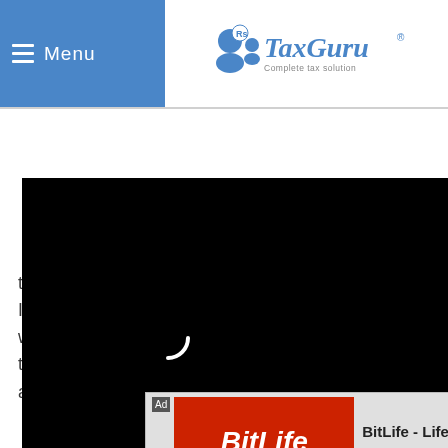Menu | TaxGuru - Complete tax solution
[Figure (screenshot): TaxGuru website header with hamburger menu on left (blue background) and TaxGuru logo on right]
[Figure (screenshot): Black video popup overlay with loading spinner and close X button]
...tination based tax on ...ore, services provided by ...in India to a service receiver located outside India which is treated as export of service cannot be taxed; for taxing a service it is not the place of ...tion ...are
[Figure (screenshot): Ad banner: BitLife - Life Simulator with Install button and close button]